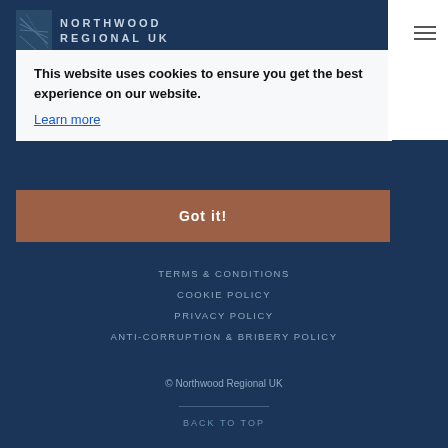NORTHWOOD REGIONAL UK
This website uses cookies to ensure you get the best experience on our website.
Learn more
Got it!
TERMS & CONDITIONS
COOKIE POLICY
PRIVACY POLICY
ANTI-CORRUPTION & BRIBERY POLICY
© Northwood Regional UK
BACK TO TOP